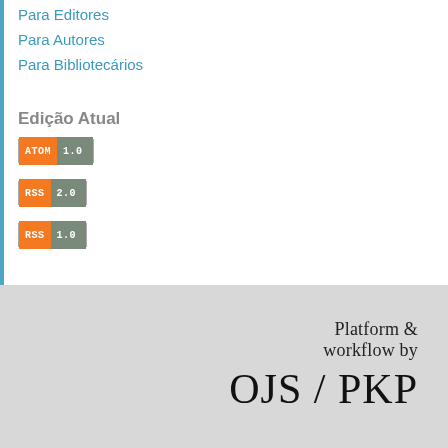Para Editores
Para Autores
Para Bibliotecários
Edição Atual
[Figure (other): ATOM 1.0 feed badge - orange label ATOM and grey version 1.0]
[Figure (other): RSS 2.0 feed badge - orange label RSS and grey version 2.0]
[Figure (other): RSS 1.0 feed badge - orange label RSS and grey version 1.0]
[Figure (logo): OJS/PKP logo with text: Platform & workflow by OJS / PKP]